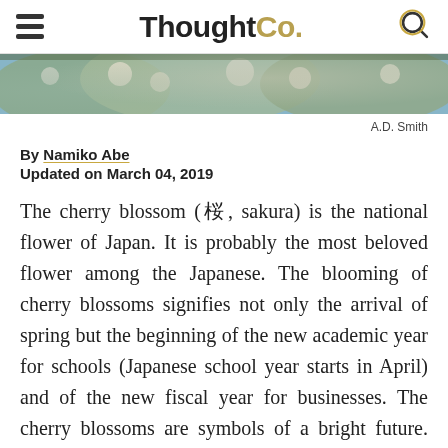ThoughtCo.
[Figure (photo): Partial view of cherry blossom flowers against a blue sky background]
A.D. Smith
By Namiko Abe
Updated on March 04, 2019
The cherry blossom (桜, sakura) is the national flower of Japan. It is probably the most beloved flower among the Japanese. The blooming of cherry blossoms signifies not only the arrival of spring but the beginning of the new academic year for schools (Japanese school year starts in April) and of the new fiscal year for businesses. The cherry blossoms are symbols of a bright future. Also, their delicacy suggests purity, transience, melancholy and has poetic appeal.